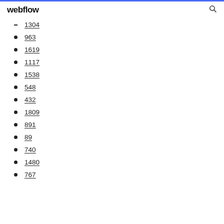webflow
1304
963
1619
1117
1538
548
432
1809
891
89
740
1480
767